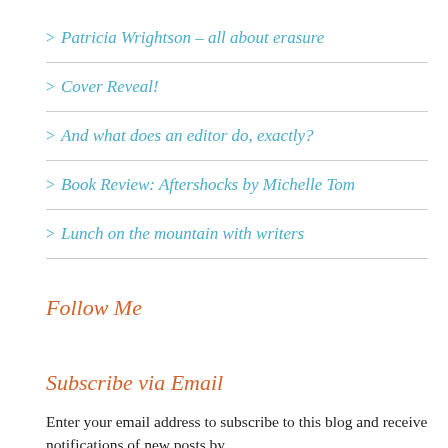> Patricia Wrightson – all about erasure
> Cover Reveal!
> And what does an editor do, exactly?
> Book Review: Aftershocks by Michelle Tom
> Lunch on the mountain with writers
Follow Me
Subscribe via Email
Enter your email address to subscribe to this blog and receive notifications of new posts by